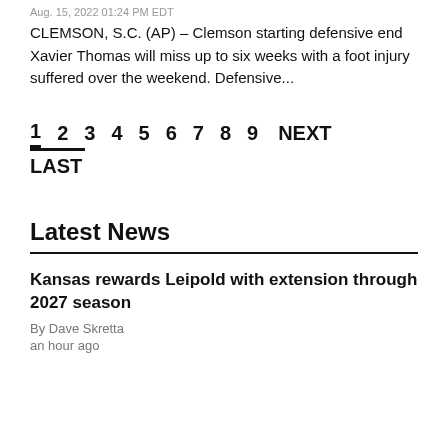Aug. 15, 2022 01:24 PM EDT
CLEMSON, S.C. (AP) – Clemson starting defensive end Xavier Thomas will miss up to six weeks with a foot injury suffered over the weekend. Defensive...
1  2  3  4  5  6  7  8  9  NEXT
LAST
Latest News
Kansas rewards Leipold with extension through 2027 season
By Dave Skretta
an hour ago